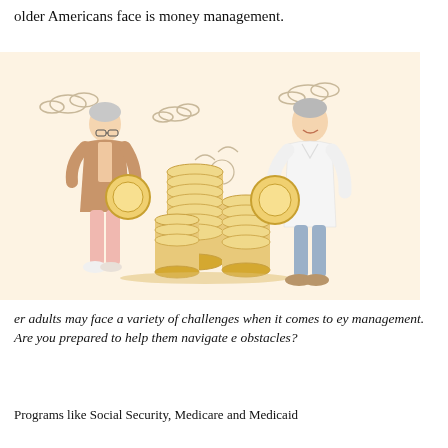older Americans face is money management.
[Figure (illustration): Two elderly people holding large gold coins, standing beside three tall stacks of coins, on a light peach background with clouds. The woman on the left wears a brown jacket and pink pants; the man on the right wears a white shirt and grey-blue pants.]
er adults may face a variety of challenges when it comes to ey management. Are you prepared to help them navigate e obstacles?
Programs like Social Security, Medicare and Medicaid